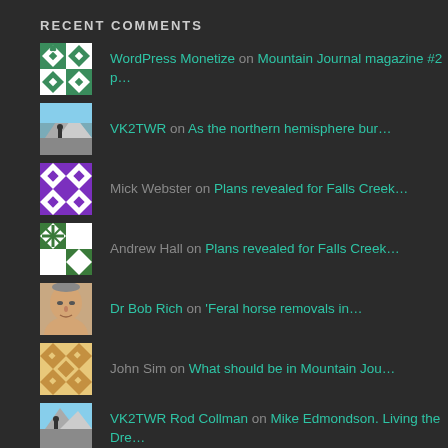RECENT COMMENTS
WordPress Monetize on Mountain Journal magazine #2 p…
VK2TWR on As the northern hemisphere bur…
Mick Webster on Plans revealed for Falls Creek…
Andrew Hall on Plans revealed for Falls Creek…
Dr Bob Rich on 'Feral horse removals in…
John Sim on What should be in Mountain Jou…
VK2TWR Rod Collman on Mike Edmondson. Living the Dre…
(avatar at bottom, partial)